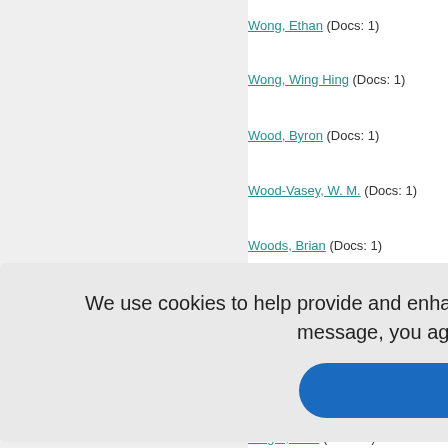Wong, Ethan (Docs: 1)
Wong, Wing Hing (Docs: 1)
Wood, Byron (Docs: 1)
Wood-Vasey, W. M. (Docs: 1)
Woods, Brian (Docs: 1)
Woolsey, Rebekah (Docs: 1)
Wootton, R. (Docs: 1)
(Docs: 1)
(Docs: 1)
)
(Docs: 1)
Wright, Julia (Docs: 1)
We use cookies to help provide and enhance our service and tailor content. By closing this message, you agree to the use of cookies.